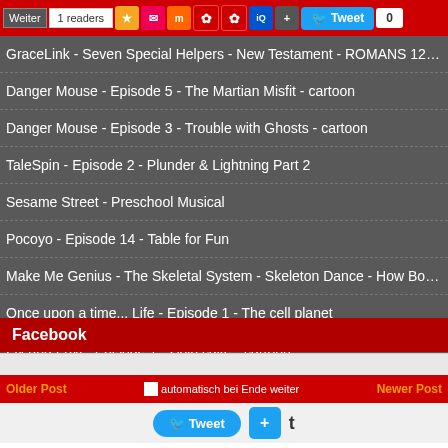Weiter | 1 readers | [icons] | Tweet | 0
GraceLink - Seven Special Helpers - New Testament - ROMANS 12:13
Danger Mouse - Episode 5 - The Martian Misfit - cartoon
Danger Mouse - Episode 3 - Trouble with Ghosts - cartoon
TaleSpin - Episode 2 - Plunder & Lightning Part 2
Sesame Street - Preschool Musical
Pocoyo - Episode 14 - Table for Fun
Make Me Genius - The Skeletal System - Skeleton Dance - How Body Works - Know
Once upon a time... Life - Episode 1 - The cell planet
Fix and Foxi - Episode 1 - Cold cake - cartoon
Facebook
Older Post | (automatisch bei Ende weiter) | Newer Post
Tweet | + | t